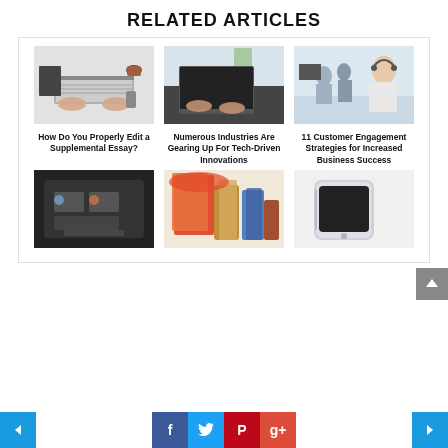RELATED ARTICLES
[Figure (photo): Top-down view of hands typing on a laptop with notebook and phone]
[Figure (photo): Hands typing on a laptop on a dark desk with plant in background]
[Figure (photo): Woman in office wearing headset, customer service scene]
How Do You Properly Edit a Supplemental Essay?
Numerous Industries Are Gearing Up For Tech-Driven Innovations
11 Customer Engagement Strategies for Increased Business Success
[Figure (photo): Dark electronic/tech device]
[Figure (photo): Colorful products/cosmetics arrangement]
[Figure (photo): Smartphone on white surface]